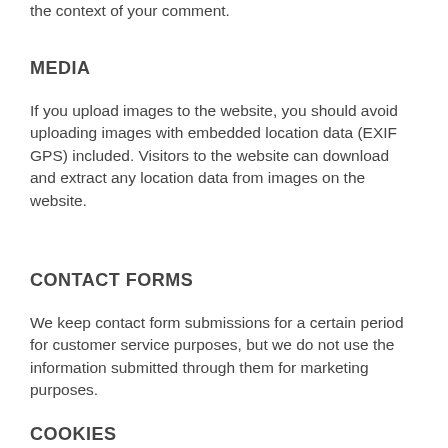the context of your comment.
MEDIA
If you upload images to the website, you should avoid uploading images with embedded location data (EXIF GPS) included. Visitors to the website can download and extract any location data from images on the website.
CONTACT FORMS
We keep contact form submissions for a certain period for customer service purposes, but we do not use the information submitted through them for marketing purposes.
COOKIES